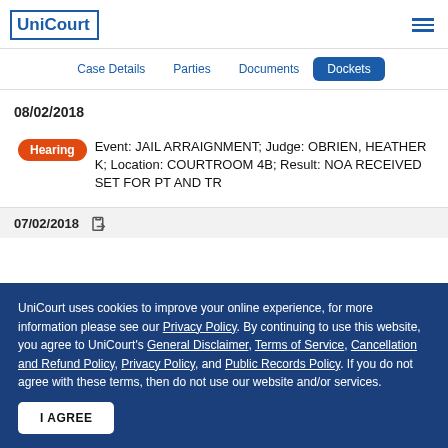UniCourt
Case Details | Parties | Documents | Dockets (active)
08/02/2018
Hearing — Event: JAIL ARRAIGNMENT; Judge: OBRIEN, HEATHER K; Location: COURTROOM 4B; Result: NOA RECEIVED SET FOR PT AND TR
07/02/2018 (partially visible)
UniCourt uses cookies to improve your online experience, for more information please see our Privacy Policy. By continuing to use this website, you agree to UniCourt's General Disclaimer, Terms of Service, Cancellation and Refund Policy, Privacy Policy, and Public Records Policy. If you do not agree with these terms, then do not use our website and/or services.
I AGREE